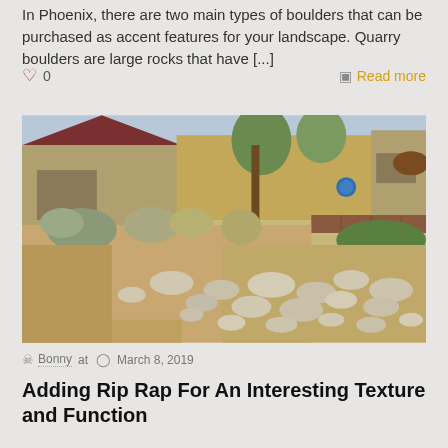In Phoenix, there are two main types of boulders that can be purchased as accent features for your landscape. Quarry boulders are large rocks that have [...]
♡ 0    Read more
[Figure (photo): Outdoor desert landscape with rocks (rip rap), desert plants, grasses, and a home with tan walls and a red tile roof in the background. Green lawn visible on the right side behind a brick retaining wall.]
Bonny at  March 8, 2019
Adding Rip Rap For An Interesting Texture and Function